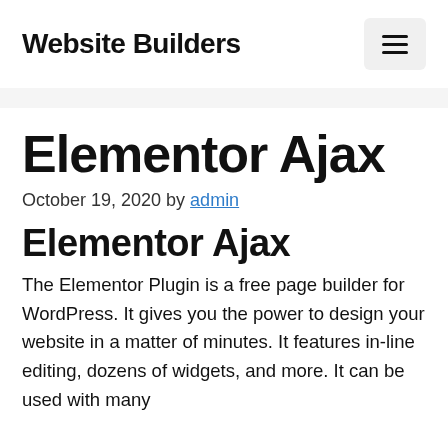Website Builders
Elementor Ajax
October 19, 2020 by admin
Elementor Ajax
The Elementor Plugin is a free page builder for WordPress. It gives you the power to design your website in a matter of minutes. It features in-line editing, dozens of widgets, and more. It can be used with many